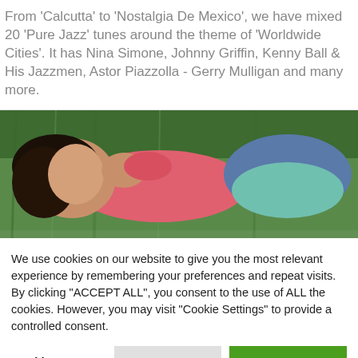From 'Calcutta' to 'Nostalgia De Mexico', we have mixed 20 'Pure Jazz' tunes around the theme of 'Worldwide Cities'. It has Nina Simone, Johnny Griffin, Kenny Ball & His Jazzmen, Astor Piazzolla - Gerry Mulligan and many more.
[Figure (photo): A woman lying on green grass, wearing a pink top and denim jacket, with her hand near her face, viewed from above.]
We use cookies on our website to give you the most relevant experience by remembering your preferences and repeat visits. By clicking "ACCEPT ALL", you consent to the use of ALL the cookies. However, you may visit "Cookie Settings" to provide a controlled consent.
Cookie Settings | REJECT ALL | ACCEPT ALL